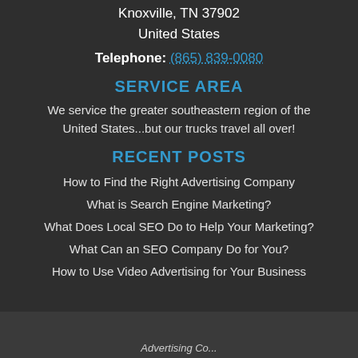Knoxville, TN 37902
United States
Telephone: (865) 839-0080
SERVICE AREA
We service the greater southeastern region of the United States...but our trucks travel all over!
RECENT POSTS
How to Find the Right Advertising Company
What is Search Engine Marketing?
What Does Local SEO Do to Help Your Marketing?
What Can an SEO Company Do for You?
How to Use Video Advertising for Your Business
Advertising Co...